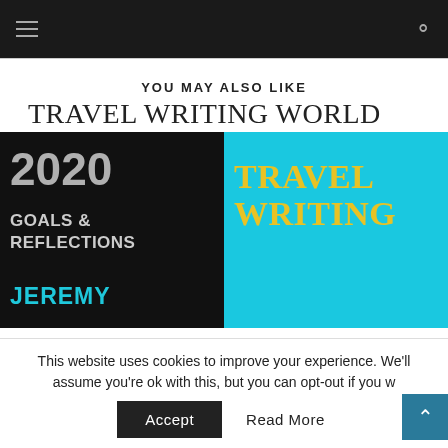Navigation bar with hamburger menu and search icon
YOU MAY ALSO LIKE
[Figure (illustration): Travel Writing World article thumbnail showing two panels: left dark panel with '2020 GOALS & REFLECTIONS JEREMY' text, right cyan panel with 'TRAVEL WRITING' in yellow bold serif text. Header reads 'TRAVEL WRITING WORLD'.]
This website uses cookies to improve your experience. We'll assume you're ok with this, but you can opt-out if you w
Accept
Read More